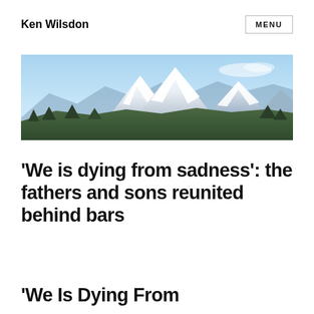Ken Wilsdon
MENU
[Figure (photo): Panoramic landscape photo of snow-capped mountains under a blue sky with forested foothills in the foreground.]
'We is dying from sadness': the fathers and sons reunited behind bars
'We Is Dying From